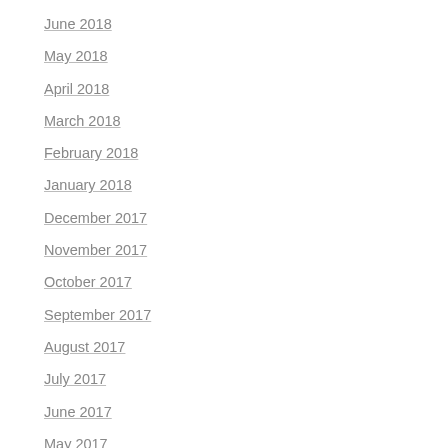June 2018
May 2018
April 2018
March 2018
February 2018
January 2018
December 2017
November 2017
October 2017
September 2017
August 2017
July 2017
June 2017
May 2017